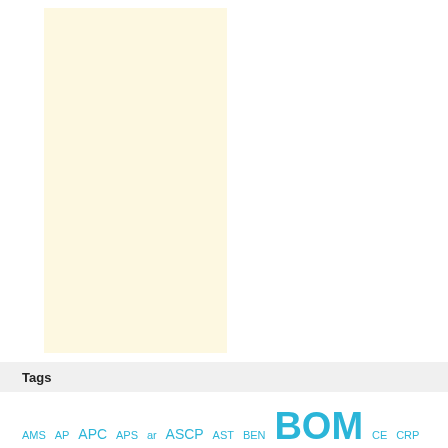[Figure (other): Cream/light yellow rectangular box, appears to be a placeholder or image area]
Tags
AMS AP APC APS ar ASCP AST BEN BOM CE CRP CZ DFF FAM ECO EDW ENG GL INV Marketing MES MRP OE OM